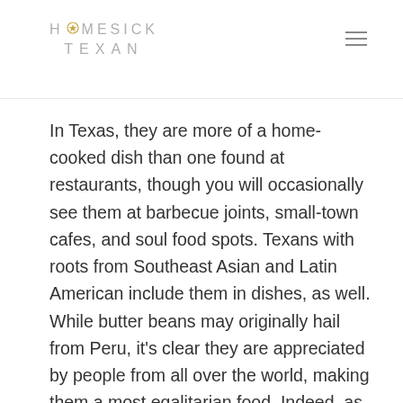HOMESICK TEXAN
In Texas, they are more of a home-cooked dish than one found at restaurants, though you will occasionally see them at barbecue joints, small-town cafes, and soul food spots. Texans with roots from Southeast Asian and Latin American include them in dishes, as well. While butter beans may originally hail from Peru, it’s clear they are appreciated by people from all over the world, making them a most egalitarian food. Indeed, as the B-52s once sang, “Everybody likes butterbeans!”